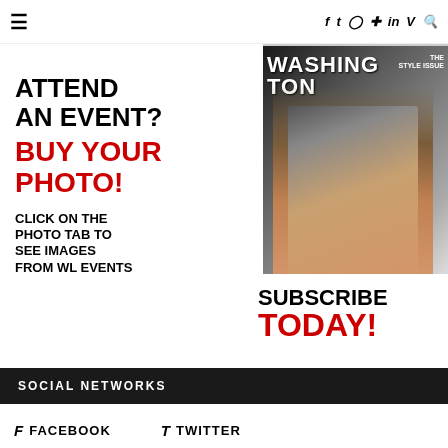≡  f  ✦  ◎  ⊕  in  V  🔍
[Figure (infographic): Advertisement banner: left side has text 'ATTEND AN EVENT? BUY YOUR PHOTO! CLICK ON THE PHOTO TAB TO SEE IMAGES FROM WL EVENTS'; right side shows Washington magazine cover with woman seated and 'SUBSCRIBE TODAY!' text]
SOCIAL NETWORKS
f  FACEBOOK    ✦  TWITTER